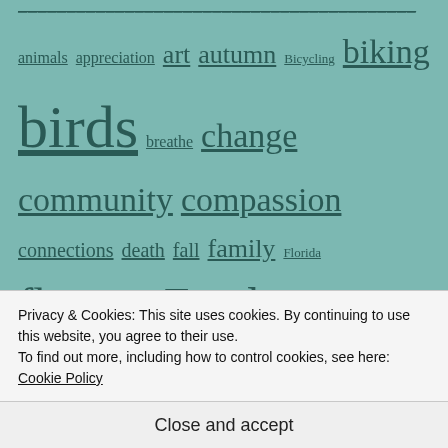[Figure (other): Tag cloud on teal/green background showing various blog tags in different font sizes. Tags include: animals, appreciation, art, autumn, Bicycling, biking, birds, breathe, change, community, compassion, connections, death, fall, family, Florida, flowers, Food, friends, Garden, generosity, gifts, giving, goodness, Gratitude, happiness, health, Hiking, homestead, hope, insects, inspiration, joy, kindness, Learning, letting go, Life, love, meditation, mindfulness, moment, psychology, quote, Quotes, rain, Relationships]
Privacy & Cookies: This site uses cookies. By continuing to use this website, you agree to their use.
To find out more, including how to control cookies, see here:
Cookie Policy
Close and accept